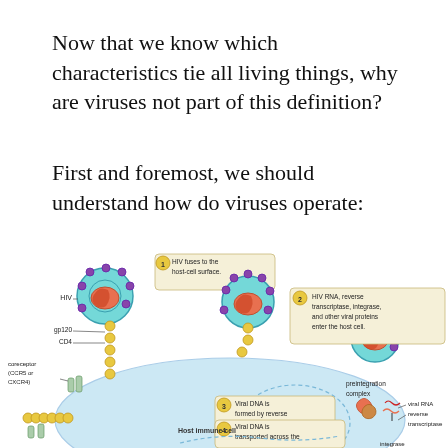Now that we know which characteristics tie all living things, why are viruses not part of this definition?
First and foremost, we should understand how do viruses operate:
[Figure (illustration): Diagram showing HIV virus lifecycle: (1) HIV fuses to host-cell surface, (2) HIV RNA, reverse transcriptase, integrase, and other viral proteins enter the host cell, (3) Viral DNA is formed by reverse transcription, (4) Viral DNA is transported across the nucleus and integrates into the host DNA. Labels include HIV, gp120, CD4, coreceptor (CCR5 or CXCR4), Host immune cell, preintegration complex, viral RNA, reverse transcriptase.]